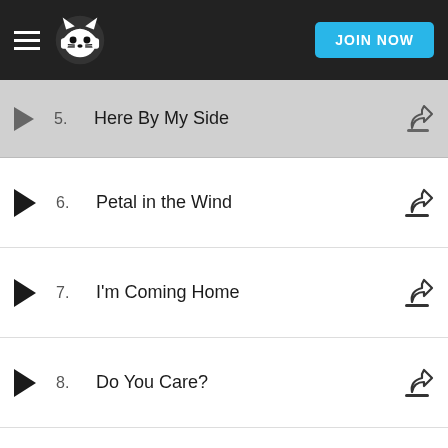[Figure (screenshot): Napster app header with hamburger menu, Napster logo, and JOIN NOW button]
5. Here By My Side
6. Petal in the Wind
7. I'm Coming Home
8. Do You Care?
9. When I Fall in Love